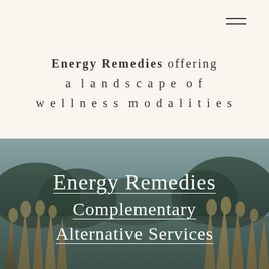[Figure (illustration): Hamburger menu icon (two horizontal lines) in top-right corner on cream background]
Energy Remedies offering a landscape of wellness modalities
[Figure (photo): Landscape photo of fields with tall grasses in foreground and trees/sky in background, with overlaid white underlined text reading 'Energy Remedies Complementary Alternative Services']